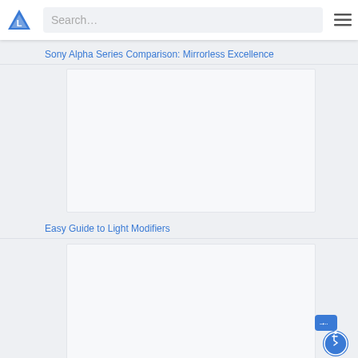Search…
Sony Alpha Series Comparison: Mirrorless Excellence
[Figure (other): Article image placeholder (white/light gray rectangle)]
Easy Guide to Light Modifiers
[Figure (other): Article image placeholder (white/light gray rectangle)]